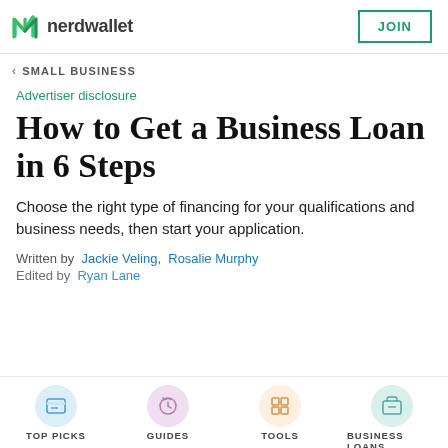nerdwallet | JOIN
< SMALL BUSINESS
Advertiser disclosure
How to Get a Business Loan in 6 Steps
Choose the right type of financing for your qualifications and business needs, then start your application.
Written by  Jackie Veling,  Rosalie Murphy
Edited by  Ryan Lane
TOP PICKS | GUIDES | TOOLS | BUSINESS LOANS